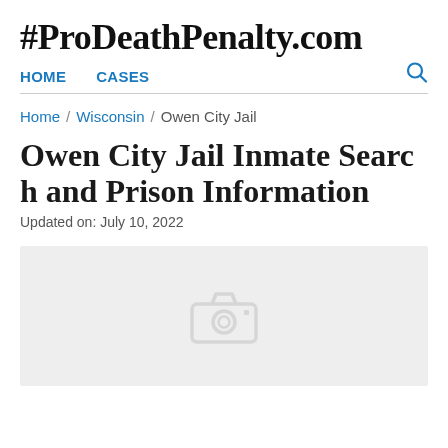#ProDeathPenalty.com
HOME   CASES
Home / Wisconsin / Owen City Jail
Owen City Jail Inmate Search and Prison Information
Updated on: July 10, 2022
[Figure (photo): Placeholder image with camera icon for Owen City Jail]